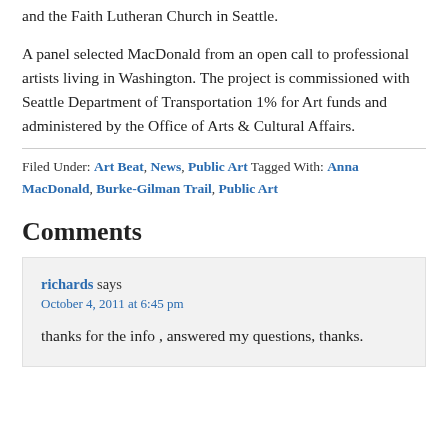and the Faith Lutheran Church in Seattle.
A panel selected MacDonald from an open call to professional artists living in Washington. The project is commissioned with Seattle Department of Transportation 1% for Art funds and administered by the Office of Arts & Cultural Affairs.
Filed Under: Art Beat, News, Public Art Tagged With: Anna MacDonald, Burke-Gilman Trail, Public Art
Comments
richards says
October 4, 2011 at 6:45 pm
thanks for the info , answered my questions, thanks.